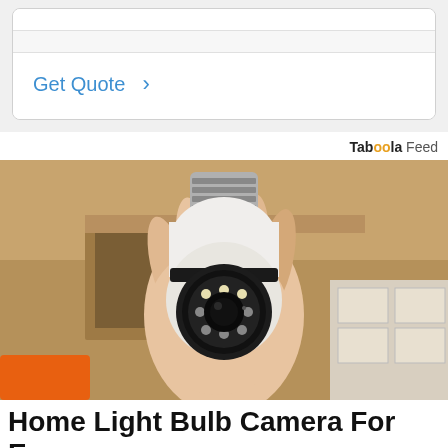[Figure (other): Form widget with 'Get Quote >' link, shown inside a light gray box with white inner form card and two input field areas]
Taboola Feed
[Figure (photo): A hand holding a white security camera shaped like a light bulb with a screw base and a circular camera lens with LED lights, in front of a wooden shelf background with boxes]
Home Light Bulb Camera For Easy